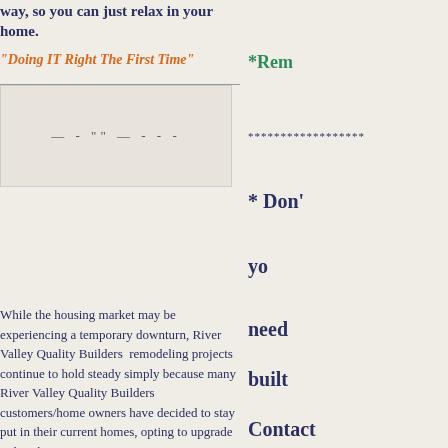way, so you can just relax in your home.
"Doing IT Right The First Time"
[Figure (photo): Partial view of a home remodeling or construction related image]
While the housing market may be experiencing a temporary downturn, River Valley Quality Builders  remodeling projects continue to hold steady simply because many River Valley Quality Builders customers/home owners have decided to stay put in their current homes, opting to upgrade rather than move.
*Rem
******************
* Don'
yo
need
built
Contact